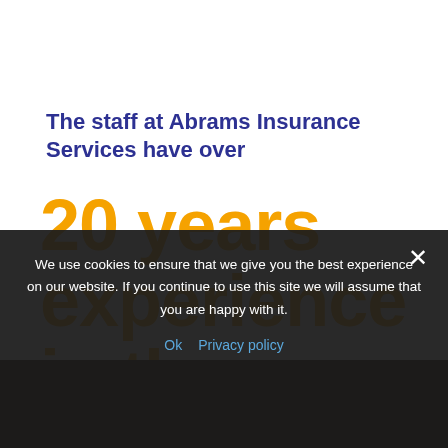The staff at Abrams Insurance Services have over
20 years experience in the placing of
We use cookies to ensure that we give you the best experience on our website. If you continue to use this site we will assume that you are happy with it.
Ok  Privacy policy